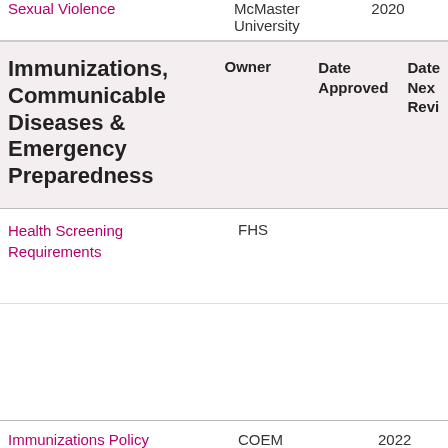| Policy | Owner | Date Approved | Date Next Review |
| --- | --- | --- | --- |
| Sexual Violence | McMaster University | 2020 |  |
| Immunizations, Communicable Diseases & Emergency Preparedness | Owner | Date Approved | Date Next Revi... |
| Health Screening Requirements | FHS |  |  |
| Immunizations Policy | COEM | 2022 |  |